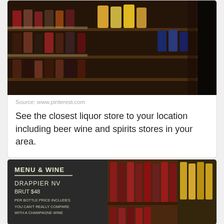[Figure (photo): Liquor store shelves filled with wine and spirit bottles, viewed from an angle showing multiple rows of bottles]
Source: www.pinterest.com
See the closest liquor store to your location including beer wine and spirits stores in your area.
[Figure (photo): Liquor store interior with a chalkboard menu showing 'DRAPPIER NV BRUT $48' and shelves of wine bottles in background]